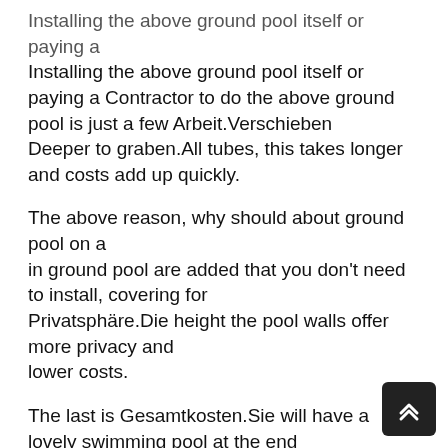Installing the above ground pool itself or paying a Contractor to do the above ground pool is just a few Arbeit.Verschieben
Deeper to graben.All tubes, this takes longer and costs add up quickly.
The above reason, why should about ground pool on a
in ground pool are added that you don't need to install, covering for
Privatsphäre.Die height the pool walls offer more privacy and
lower costs.
The last is Gesamtkosten.Sie will have a lovely swimming pool at the end
but the costs exceed your expectations can your not swimming
be fun if you took a considerable home